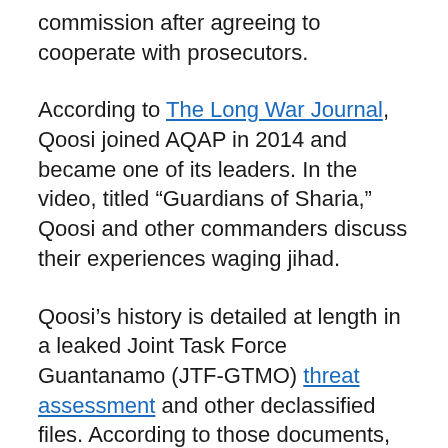commission after agreeing to cooperate with prosecutors.
According to The Long War Journal, Qoosi joined AQAP in 2014 and became one of its leaders. In the video, titled “Guardians of Sharia,” Qoosi and other commanders discuss their experiences waging jihad.
Qoosi’s history is detailed at length in a leaked Joint Task Force Guantanamo (JTF-GTMO) threat assessment and other declassified files. According to those documents, his first stint with al-Qaeda began in Afghanistan in 1990 and ended in 2001, when he was captured by Pakistani authorities while fleeing the Battle of